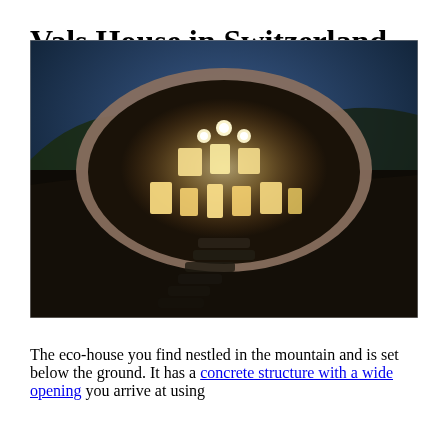Vals House in Switzerland
[Figure (photo): Aerial/exterior nighttime photo of the Vals House in Switzerland — a circular underground eco-house built into a hillside, with glowing windows visible through a wide oval opening. Stone steps lead down toward the entrance. The surrounding landscape is dark with a moody blue sky.]
The eco-house you find nestled in the mountain and is set below the ground. It has a concrete structure with a wide opening you arrive at using